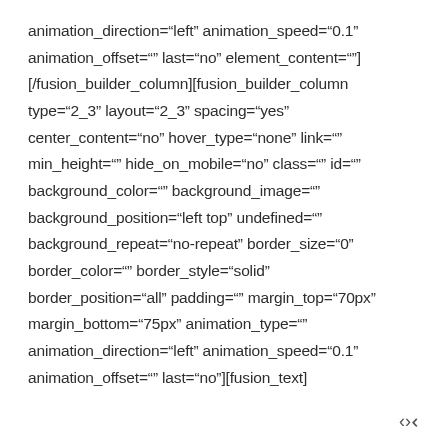animation_direction="left" animation_speed="0.1" animation_offset="" last="no" element_content=""][/fusion_builder_column][fusion_builder_column type="2_3" layout="2_3" spacing="yes" center_content="no" hover_type="none" link="" min_height="" hide_on_mobile="no" class="" id="" background_color="" background_image="" background_position="left top" undefined="" background_repeat="no-repeat" border_size="0" border_color="" border_style="solid" border_position="all" padding="" margin_top="70px" margin_bottom="75px" animation_type="" animation_direction="left" animation_speed="0.1" animation_offset="" last="no"][fusion_text]